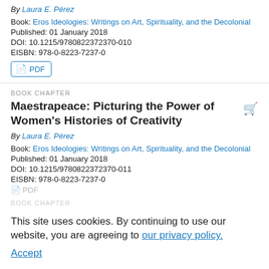By Laura E. Pérez
Book: Eros Ideologies: Writings on Art, Spirituality, and the Decolonial
Published: 01 January 2018
DOI: 10.1215/9780822372370-010
EISBN: 978-0-8223-7237-0
PDF
BOOK CHAPTER
Maestrapeace: Picturing the Power of Women's Histories of Creativity
By Laura E. Pérez
Book: Eros Ideologies: Writings on Art, Spirituality, and the Decolonial
Published: 01 January 2018
DOI: 10.1215/9780822372370-011
EISBN: 978-0-8223-7237-0
PDF
BOOK CHAPTER
This site uses cookies. By continuing to use our website, you are agreeing to our privacy policy. Accept